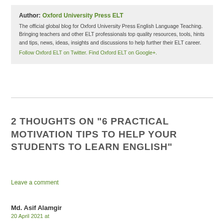Author: Oxford University Press ELT
The official global blog for Oxford University Press English Language Teaching. Bringing teachers and other ELT professionals top quality resources, tools, hints and tips, news, ideas, insights and discussions to help further their ELT career.
Follow Oxford ELT on Twitter. Find Oxford ELT on Google+.
2 THOUGHTS ON "6 PRACTICAL MOTIVATION TIPS TO HELP YOUR STUDENTS TO LEARN ENGLISH"
Leave a comment
Md. Asif Alamgir
20 April 2021 at